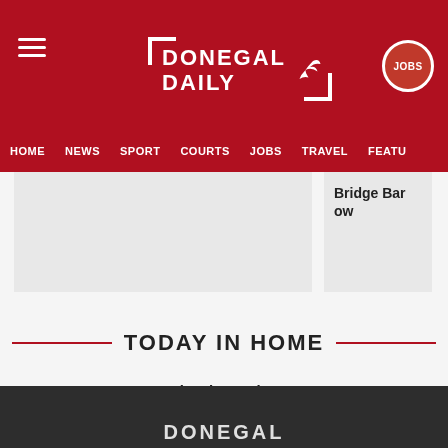[Figure (logo): Donegal Daily logo in white on dark red background with bracket design and bird icon. Menu hamburger icon on left, JOBS badge on right.]
HOME  NEWS  SPORT  COURTS  JOBS  TRAVEL  FEATU
[Figure (photo): Two article card thumbnails side by side. Left card is a blank grey placeholder. Right card shows partial headline text: Bridge Bar ow]
TODAY IN HOME
Classic version
Powered by marfeel
[Figure (logo): Donegal Daily footer logo in white on dark grey background]